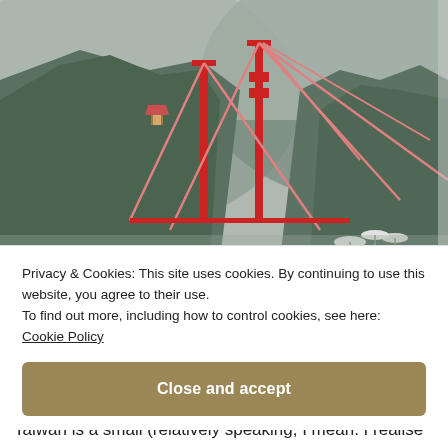[Figure (photo): A suspension bridge with a red metal frame and cables spans a gorge between steep, forested mountains in misty conditions. On the left cliff there is a small traditional pavilion. Several visitors with umbrellas are visible at the bottom right.]
Privacy & Cookies: This site uses cookies. By continuing to use this website, you agree to their use.
To find out more, including how to control cookies, see here:
Cookie Policy
Close and accept
Taiwan is a small (relatively speaking, I mean. I realise